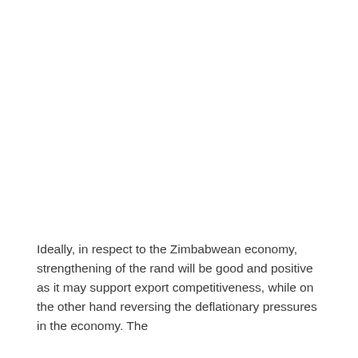Ideally, in respect to the Zimbabwean economy, strengthening of the rand will be good and positive as it may support export competitiveness, while on the other hand reversing the deflationary pressures in the economy. The